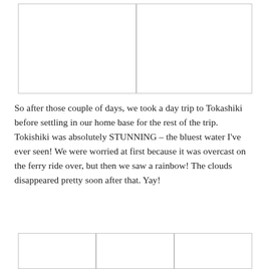[Figure (photo): Two side-by-side blank/white image placeholder boxes at the top of the page]
So after those couple of days, we took a day trip to Tokashiki before settling in our home base for the rest of the trip. Tokishiki was absolutely STUNNING – the bluest water I've ever seen! We were worried at first because it was overcast on the ferry ride over, but then we saw a rainbow! The clouds disappeared pretty soon after that. Yay!
[Figure (photo): Three side-by-side blank/white image placeholder boxes at the bottom of the page]